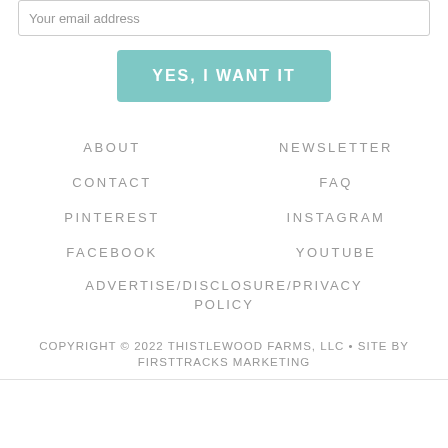Your email address
YES, I WANT IT
ABOUT
NEWSLETTER
CONTACT
FAQ
PINTEREST
INSTAGRAM
FACEBOOK
YOUTUBE
ADVERTISE/DISCLOSURE/PRIVACY POLICY
COPYRIGHT © 2022 THISTLEWOOD FARMS, LLC • SITE BY FIRSTTRACKS MARKETING